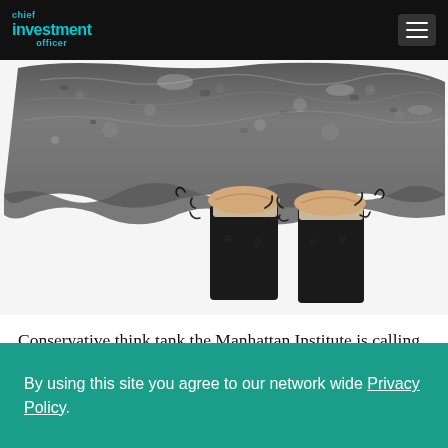chief investment officer
[Figure (illustration): Two hands in dark suit sleeves holding up a large granite boulder from below, with stress/motion lines drawn around the wrists, on a white background.]
Conservative think tank the Manhattan Institute is calling for New York City to reform its public retirement system, including by ditching its defined
By using this site you agree to our network wide Privacy Policy.